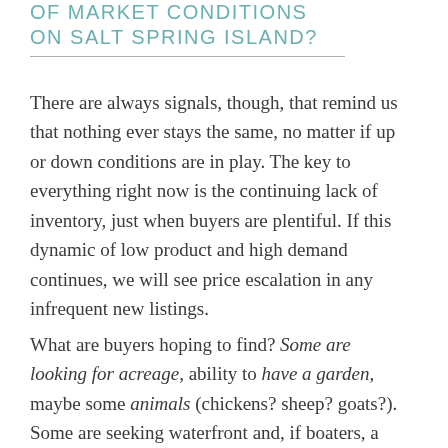OF MARKET CONDITIONS ON SALT SPRING ISLAND?
There are always signals, though, that remind us that nothing ever stays the same, no matter if up or down conditions are in play. The key to everything right now is the continuing lack of inventory, just when buyers are plentiful. If this dynamic of low product and high demand continues, we will see price escalation in any infrequent new listings.
What are buyers hoping to find? Some are looking for acreage, ability to have a garden, maybe some animals (chickens? sheep? goats?). Some are seeking waterfront and, if boaters, a dock.